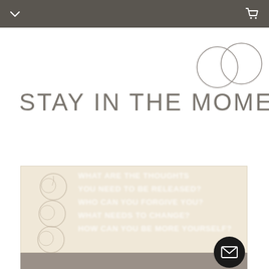navigation header with chevron and cart icon
STAY IN THE MOMENT
[Figure (illustration): Two overlapping outline circles decorative graphic in grey]
[Figure (photo): A card/image with beige background showing blurred white bold text lines resembling journal prompts, with decorative swirl circles on the left side. A dark circular mail/envelope button overlays the bottom right corner.]